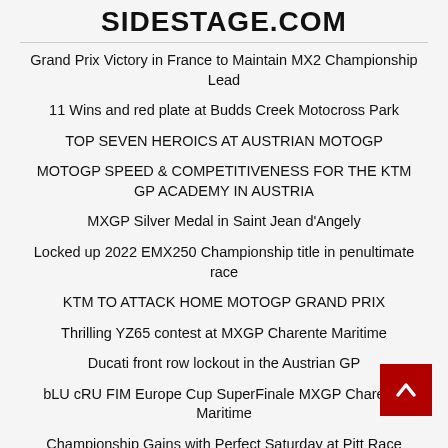SIDESTAGE.COM
Grand Prix Victory in France to Maintain MX2 Championship Lead
11 Wins and red plate at Budds Creek Motocross Park
TOP SEVEN HEROICS AT AUSTRIAN MOTOGP
MOTOGP SPEED & COMPETITIVENESS FOR THE KTM GP ACADEMY IN AUSTRIA
MXGP Silver Medal in Saint Jean d'Angely
Locked up 2022 EMX250 Championship title in penultimate race
KTM TO ATTACK HOME MOTOGP GRAND PRIX
Thrilling YZ65 contest at MXGP Charente Maritime
Ducati front row lockout in the Austrian GP
bLU cRU FIM Europe Cup SuperFinale MXGP Charente Maritime
Championship Gains with Perfect Saturday at Pitt Race